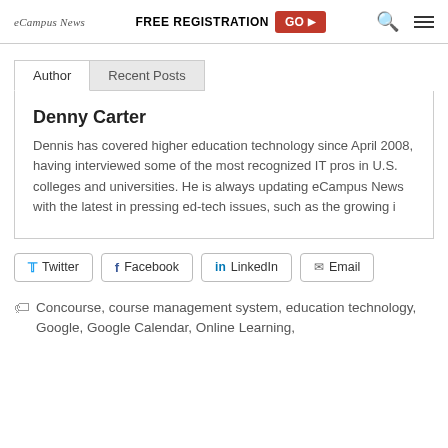eCampus News | FREE REGISTRATION GO
Author | Recent Posts
Denny Carter
Dennis has covered higher education technology since April 2008, having interviewed some of the most recognized IT pros in U.S. colleges and universities. He is always updating eCampus News with the latest in pressing ed-tech issues, such as the growing i
Twitter  Facebook  LinkedIn  Email
Concourse, course management system, education technology, Google, Google Calendar, Online Learning,